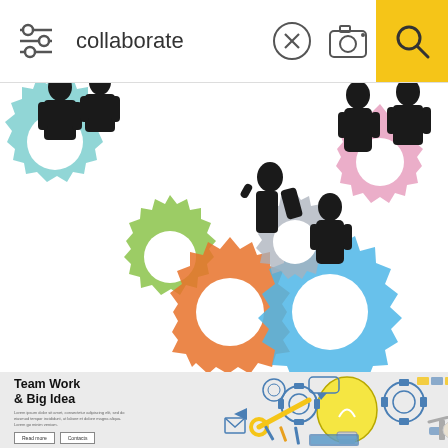[Figure (screenshot): Mobile search bar UI with filter icon on the left, search query 'collaborate', an X button, camera icon, and yellow search button on the right]
[Figure (illustration): Colorful illustration of business people silhouettes standing on interlocking gears in teal, green, orange, blue, pink, and gray colors]
[Figure (illustration): Web banner illustration with 'Team Work & Big Idea' heading, lorem ipsum text, Read more and Contacts buttons, and flat-style line art of tools, gears, lightbulb, and mechanical elements on gray background]